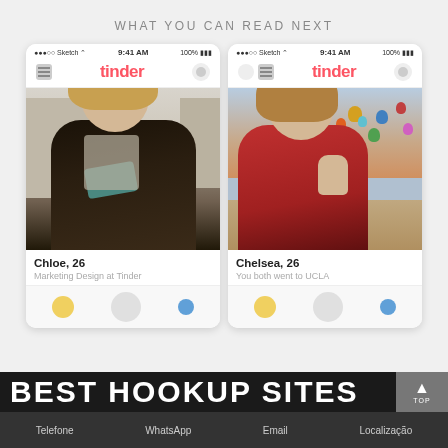WHAT YOU CAN READ NEXT
[Figure (screenshot): Two Tinder app screenshots side by side. Left: profile of Chloe, 26, Marketing Design at Tinder. Right: profile of Chelsea, 26, You both went to UCLA.]
BEST HOOKUP SITES
Telefone   WhatsApp   Email   Localização